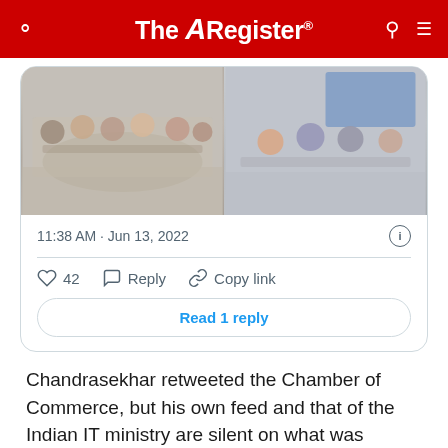The Register
[Figure (photo): Screenshot of a tweet card showing a meeting photo (conference room with people seated around a table), timestamp 11:38 AM · Jun 13, 2022, with 42 likes, Reply, Copy link actions, and a Read 1 reply button]
Chandrasekhar retweeted the Chamber of Commerce, but his own feed and that of the Indian IT ministry are silent on what was discussed, or any outcomes.
India outlet MediaNama reports that some concessions were raised at the meeting, among them extending the